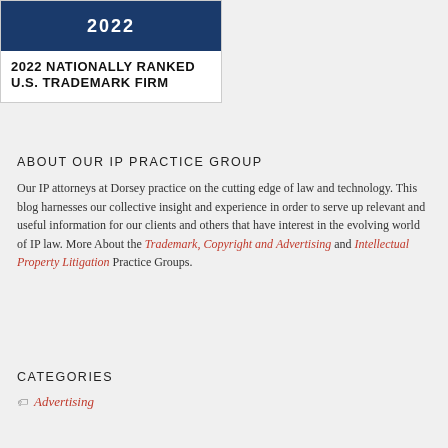[Figure (logo): Badge showing 2022 Nationally Ranked U.S. Trademark Firm with dark blue header area]
2022 NATIONALLY RANKED U.S. TRADEMARK FIRM
ABOUT OUR IP PRACTICE GROUP
Our IP attorneys at Dorsey practice on the cutting edge of law and technology. This blog harnesses our collective insight and experience in order to serve up relevant and useful information for our clients and others that have interest in the evolving world of IP law. More About the Trademark, Copyright and Advertising and Intellectual Property Litigation Practice Groups.
CATEGORIES
Advertising